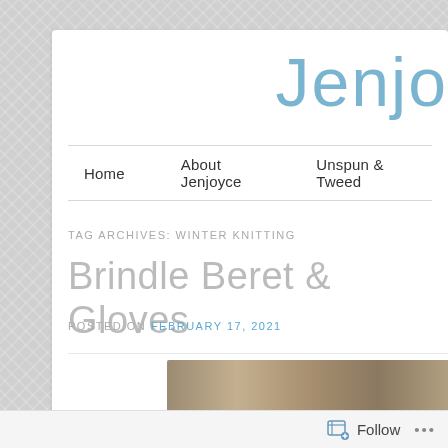Jenjo
Home   About Jenjoyce   Unspun & Tweed
TAG ARCHIVES: WINTER KNITTING
Brindle Beret & Gloves
POSTED ON FEBRUARY 17, 2021
Follow  ...